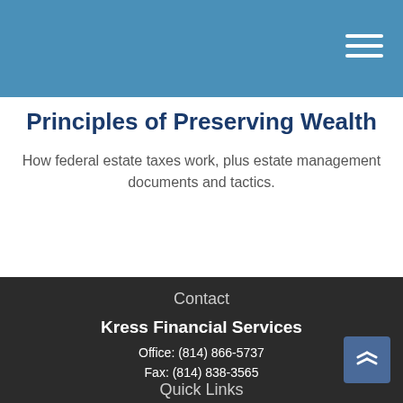Principles of Preserving Wealth
How federal estate taxes work, plus estate management documents and tactics.
Contact
Kress Financial Services
Office: (814) 866-5737
Fax: (814) 838-3565
2201-2205 West Grandview Blvd.
Erie, PA 16506
dkress@kressfinancial.com
Quick Links